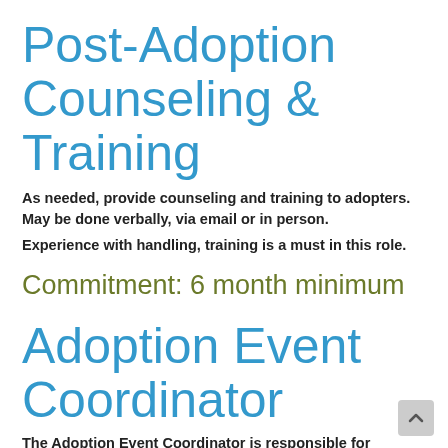Post-Adoption Counseling & Training
As needed, provide counseling and training to adopters. May be done verbally, via email or in person.
Experience with handling, training is a must in this role.
Commitment: 6 month minimum
Adoption Event Coordinator
The Adoption Event Coordinator is responsible for scheduling events with hosting facilities and